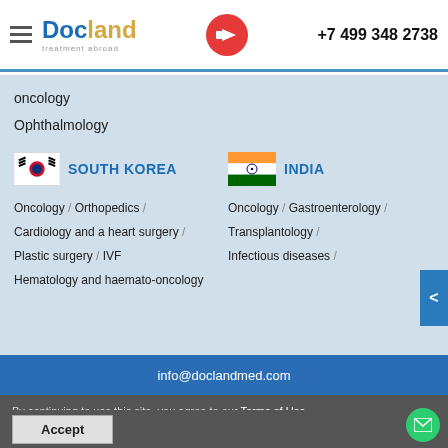Docland treatment abroad | +7 499 348 2738
oncology
Ophthalmology
SOUTH KOREA
Oncology / Orthopedics / Cardiology and a heart surgery / Plastic surgery / IVF / Hematology and haemato-oncology
INDIA
Oncology / Gastroenterology / Transplantology / Infectious diseases /
info@doclandmed.com
By continuing to use this site, you agree to our Terms of Use cookie-files.